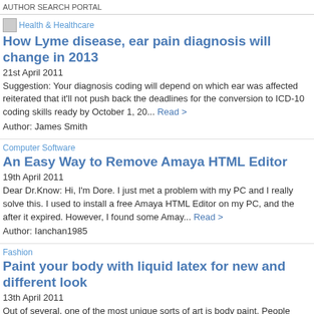AUTHOR SEARCH PORTAL
[Figure (other): Health & Healthcare category image/icon placeholder]
How Lyme disease, ear pain diagnosis will change in 2013
21st April 2011
Suggestion: Your diagnosis coding will depend on which ear was affected... reiterated that it'll not push back the deadlines for the conversion to ICD-10 coding skills ready by October 1, 20... Read >
Author: James Smith
Computer Software
An Easy Way to Remove Amaya HTML Editor
19th April 2011
Dear Dr.Know: Hi, I'm Dore. I just met a problem with my PC and I really solve this. I used to install a free Amaya HTML Editor on my PC, and the after it expired. However, I found some Amay... Read >
Author: Ianchan1985
Fashion
Paint your body with liquid latex for new and different look
13th April 2011
Out of several, one of the most unique sorts of art is body paint. People body paint to paint their body part to evince their thoughts and feelings.